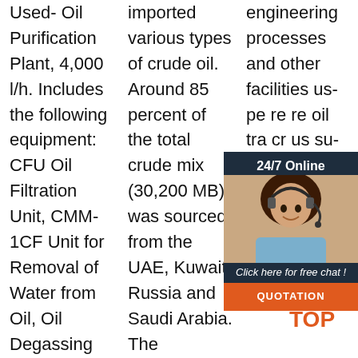Used- Oil Purification Plant, 4,000 l/h. Includes the following equipment: CFU Oil Filtration Unit, CMM-1CF Unit for Removal of Water from Oil, Oil Degassing Oil Filtration Cart, Model CMM-0.6. Last used...
imported various types of crude oil. Around 85 percent of the total crude mix (30,200 MB) was sourced from the UAE, Kuwait, Russia and Saudi Arabia. The remaining 15 percent was imported from ASEAN countries
engineering processes and other facilities us... pe... re... re... oil tra... cr... us... su... liquefied petroleum gas (LPG), gasoline or petrol
[Figure (other): Customer support chat widget with a woman wearing a headset, dark navy background, '24/7 Online' label, 'Click here for free chat!' text, and an orange 'QUOTATION' button.]